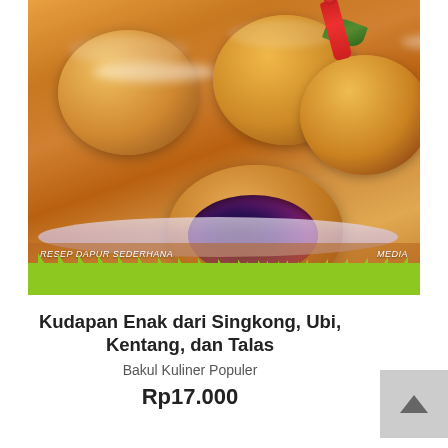[Figure (photo): Fried donut-like pastries (filled buns) on a plate, one cut open showing dark blueberry filling, with powdered sugar on top, a red cherry and green leaf decoration, and a green zigzag strip at the bottom of the image. Text band reads 'RESEP DAPUR SEDERHANA' on the left and 'MEDIA' on the right.]
Kudapan Enak dari Singkong, Ubi, Kentang, dan Talas
Bakul Kuliner Populer
Rp17.000